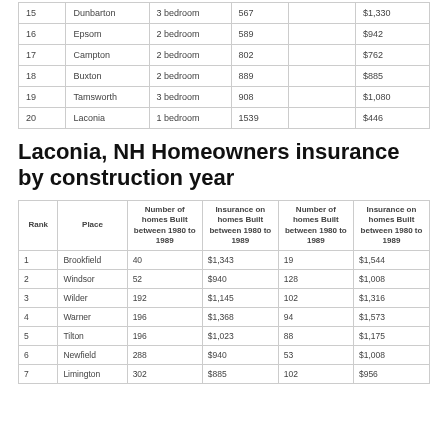|  |  |  |  |  |  |
| --- | --- | --- | --- | --- | --- |
| 15 | Dunbarton | 3 bedroom | 567 |  | $1,330 |
| 16 | Epsom | 2 bedroom | 589 |  | $942 |
| 17 | Campton | 2 bedroom | 802 |  | $762 |
| 18 | Buxton | 2 bedroom | 889 |  | $885 |
| 19 | Tamsworth | 3 bedroom | 908 |  | $1,080 |
| 20 | Laconia | 1 bedroom | 1539 |  | $446 |
Laconia, NH Homeowners insurance by construction year
| Rank | Place | Number of homes Built between 1980 to 1989 | Insurance on homes Built between 1980 to 1989 | Number of homes Built between 1980 to 1989 | Insurance on homes Built between 1980 to 1989 |
| --- | --- | --- | --- | --- | --- |
| 1 | Brookfield | 40 | $1,343 | 19 | $1,544 |
| 2 | Windsor | 52 | $940 | 128 | $1,008 |
| 3 | Wilder | 192 | $1,145 | 102 | $1,316 |
| 4 | Warner | 196 | $1,368 | 94 | $1,573 |
| 5 | Tilton | 196 | $1,023 | 88 | $1,175 |
| 6 | Newfield | 288 | $940 | 53 | $1,008 |
| 7 | Limington | 302 | $885 | 102 | $956 |